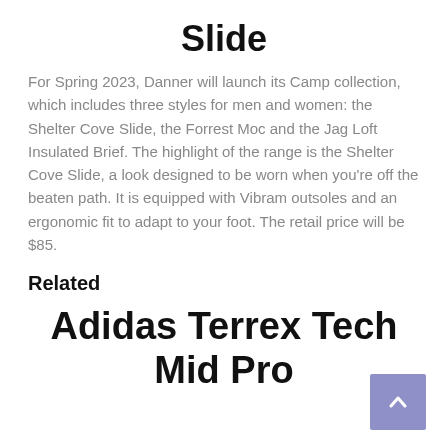Slide
For Spring 2023, Danner will launch its Camp collection, which includes three styles for men and women: the Shelter Cove Slide, the Forrest Moc and the Jag Loft Insulated Brief. The highlight of the range is the Shelter Cove Slide, a look designed to be worn when you’re off the beaten path. It is equipped with Vibram outsoles and an ergonomic fit to adapt to your foot. The retail price will be $85.
Related
Adidas Terrex Tech Mid Pro